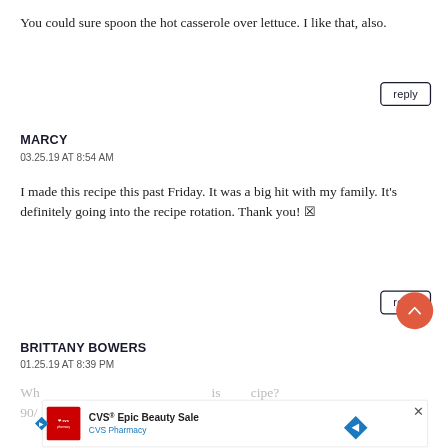You could sure spoon the hot casserole over lettuce. I like that, also.
reply
MARCY
03.25.19 AT 8:54 AM
I made this recipe this past Friday. It was a big hit with my family. It’s definitely going into the recipe rotation. Thank you! 😊
reply
BRITTANY BOWERS
01.25.19 AT 8:39 PM
[Figure (other): CVS Epic Beauty Sale advertisement banner at the bottom of the page, partially visible, with CVS Pharmacy logo in red, diamond-shaped navigation icon, and close button]